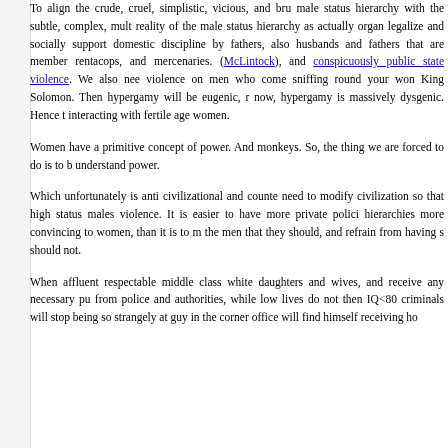To align the crude, cruel, simplistic, vicious, and bru male status hierarchy with the subtle, complex, mult reality of the male status hierarchy as actually organ legalize and socially support domestic discipline by fathers, also husbands and fathers that are member rentacops, and mercenaries. (McLintock), and conspicuously public state violence. We also nee violence on men who come sniffing round your won King Solomon. Then hypergamy will be eugenic, r now, hypergamy is massively dysgenic. Hence t interacting with fertile age women.
Women have a primitive concept of power. And monkeys. So, the thing we are forced to do is to b understand power.
Which unfortunately is anti civilizational and counte need to modify civilization so that high status males violence. It is easier to have more private polici hierarchies more convincing to women, than it is to m the men that they should, and refrain from having s should not.
When affluent respectable middle class white daughters and wives, and receive any necessary pu from police and authorities, while low lives do not then IQ<80 criminals will stop being so strangely at guy in the corner office will find himself receiving ho